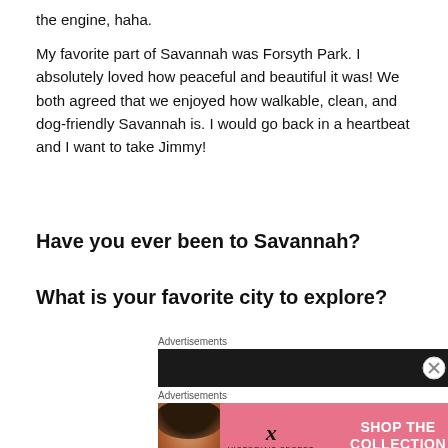the engine, haha.
My favorite part of Savannah was Forsyth Park. I absolutely loved how peaceful and beautiful it was! We both agreed that we enjoyed how walkable, clean, and dog-friendly Savannah is. I would go back in a heartbeat and I want to take Jimmy!
Have you ever been to Savannah?
What is your favorite city to explore?
Advertisements
[Figure (other): Dark/black advertisement banner]
Advertisements
[Figure (other): Victoria's Secret advertisement banner with model, VS logo, and 'SHOP THE COLLECTION / SHOP NOW' call to action on pink background]